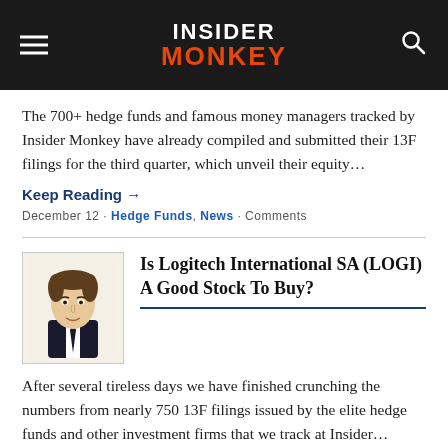INSIDER MONKEY
The 700+ hedge funds and famous money managers tracked by Insider Monkey have already compiled and submitted their 13F filings for the third quarter, which unveil their equity...
Keep Reading →
December 12 - Hedge Funds, News - Comments
Is Logitech International SA (LOGI) A Good Stock To Buy?
After several tireless days we have finished crunching the numbers from nearly 750 13F filings issued by the elite hedge funds and other investment firms that we track at Insider...
Keep Reading →